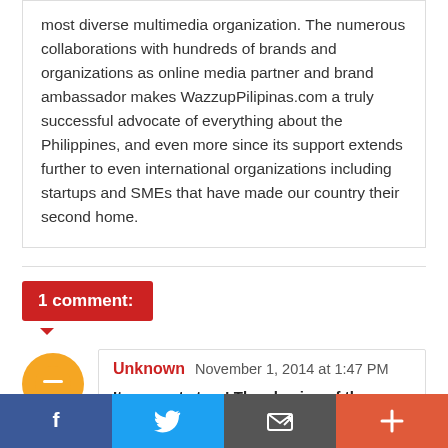most diverse multimedia organization. The numerous collaborations with hundreds of brands and organizations as online media partner and brand ambassador makes WazzupPilipinas.com a truly successful advocate of everything about the Philippines, and even more since its support extends further to even international organizations including startups and SMEs that have made our country their second home.
1 comment:
Unknown November 1, 2014 at 1:47 PM
Its a great story! The phasing of the events is really good. Great Job!
f  [Twitter bird]  [Email icon]  +